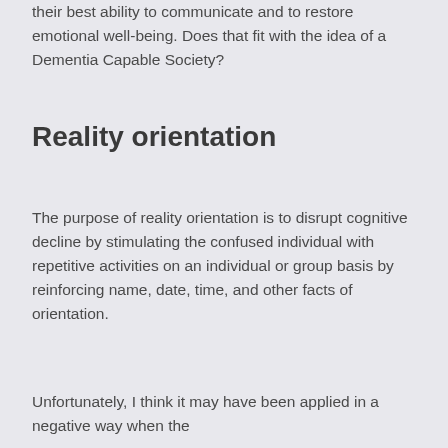Sounds like she's trying to meet the person at their best ability to communicate and to restore emotional well-being. Does that fit with the idea of a Dementia Capable Society?
Reality orientation
The purpose of reality orientation is to disrupt cognitive decline by stimulating the confused individual with repetitive activities on an individual or group basis by reinforcing name, date, time, and other facts of orientation.
Unfortunately, I think it may have been applied in a negative way when the